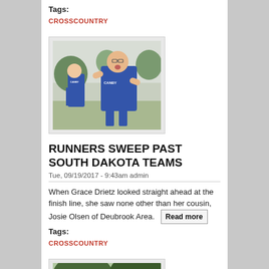Tags:
CROSSCOUNTRY
[Figure (photo): Two runners wearing blue CANBY jerseys racing, open-mouthed expressions, outdoor setting]
RUNNERS SWEEP PAST SOUTH DAKOTA TEAMS
Tue, 09/19/2017 - 9:43am admin
When Grace Drietz looked straight ahead at the finish line, she saw none other than her cousin, Josie Olsen of Deubrook Area.
Read more
Tags:
CROSSCOUNTRY
[Figure (photo): Young runner in blue jersey standing outdoors under trees]